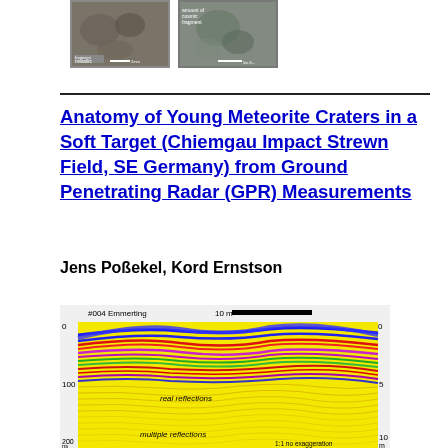[Figure (photo): Two rock/meteorite sample photographs side by side with measurement scale bars, showing metallic-looking mineral fragments]
Anatomy of Young Meteorite Craters in a Soft Target (Chiemgau Impact Strewn Field, SE Germany) from Ground Penetrating Radar (GPR) Measurements
Jens Poßekel, Kord Ernstson
[Figure (other): GPR (Ground Penetrating Radar) radargram labeled #004 Emmerting showing subsurface reflections. Scale bar of 10 m shown at top. Left axis shows 0, 100, 200 ns time scale; right axis shows 0, 5, 10 m depth scale. Labels 'real reflections' and 'multiple reflections' annotate different zones. Note '1:1 no exaggeration' at bottom right. Colorful layered reflections (yellow, green, red, blue, pink) visible in upper portion.]